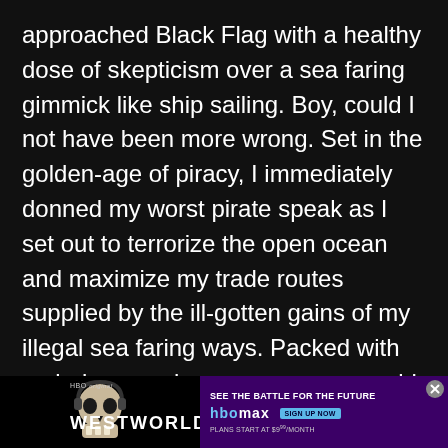approached Black Flag with a healthy dose of skepticism over a sea faring gimmick like ship sailing. Boy, could I not have been more wrong. Set in the golden-age of piracy, I immediately donned my worst pirate speak as I set out to terrorize the open ocean and maximize my trade routes supplied by the ill-gotten gains of my illegal sea faring ways. Packed with varied game play across a new world globe, this is one sandbox adventure just waiting for you to get lost in. Steal ships, take over fortresses and explore underwater wrecks for buried treasure. And if all that starts getting old, simply hop back over to the storyline for more adventure in a stream of stealth and assassination missions. Set your Facebook language to pirate and flex your cannon blasting fingers. You'd be a nothing short of a scallywag for giving this 2013 gem a miss.
[Figure (other): Advertisement for HBO Westworld on HBO Max. Shows a skull image on dark background with 'WESTWORLD' text in bold, HBO Max logo, 'SEE THE BATTLE FOR THE FUTURE' tagline, sign up button, and 'PLANS START AT $9.99/MONTH' text. Has a close/dismiss button (X in circle) in top right corner.]